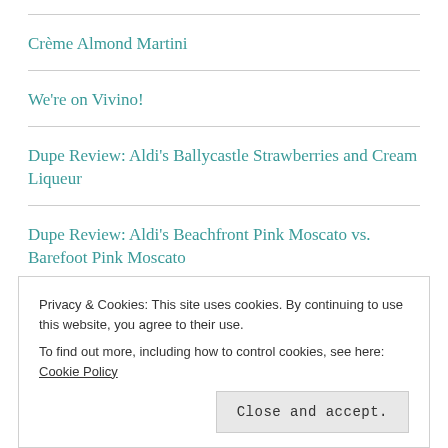Crème Almond Martini
We're on Vivino!
Dupe Review: Aldi's Ballycastle Strawberries and Cream Liqueur
Dupe Review: Aldi's Beachfront Pink Moscato vs. Barefoot Pink Moscato
Review: Marie's Room
Privacy & Cookies: This site uses cookies. By continuing to use this website, you agree to their use.
To find out more, including how to control cookies, see here: Cookie Policy
Close and accept.
My Tweets